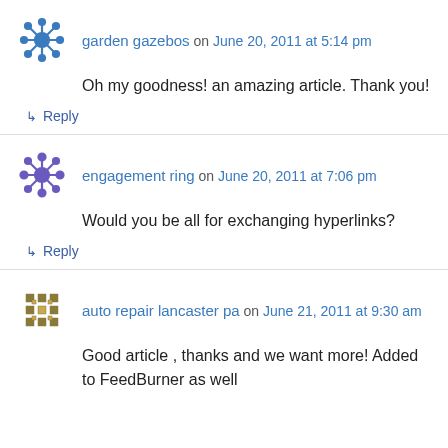garden gazebos on June 20, 2011 at 5:14 pm
Oh my goodness! an amazing article. Thank you!
↳ Reply
engagement ring on June 20, 2011 at 7:06 pm
Would you be all for exchanging hyperlinks?
↳ Reply
auto repair lancaster pa on June 21, 2011 at 9:30 am
Good article , thanks and we want more! Added to FeedBurner as well